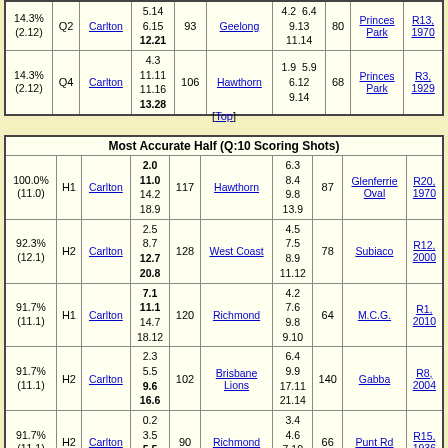| Pct | Q | Team | Score | Pts | Opponent | Opp Score | Opp Pts | Venue | Game |
| --- | --- | --- | --- | --- | --- | --- | --- | --- | --- |
| 14.3% (2.12) | Q2 | Carlton | 5.14 6.15 12.21 | 93 | Geelong | 4.2 6.4 9.13 11.14 | 80 | Princes Park | R13, 1970 |
| 14.3% (2.12) | Q4 | Carlton | 4.3 11.11 11.16 13.28 | 106 | Hawthorn | 1.9 5.9 6.12 9.14 | 68 | Princes Park | R3, 1929 |
[Top]
| Most Accurate Half (Q:10 Scoring Shots) |
| --- |
| 100.0% (11.0) | H1 | Carlton | 2.0 11.0 14.2 18.9 | 117 | Hawthorn | 6.3 8.4 9.8 13.9 | 87 | Glenferrie Oval | R20, 1970 |
| 92.3% (12.1) | H2 | Carlton | 2.5 8.7 12.7 20.8 | 128 | West Coast | 4.5 7.5 8.9 11.12 | 78 | Subiaco | R12, 2000 |
| 91.7% (11.1) | H1 | Carlton | 7.1 11.1 14.7 18.12 | 120 | Richmond | 4.2 7.6 9.8 9.10 | 64 | M.C.G. | R1, 2010 |
| 91.7% (11.1) | H2 | Carlton | 2.3 5.5 9.6 16.6 | 102 | Brisbane Lions | 6.4 9.9 17.11 21.14 | 140 | Gabba | R8, 2004 |
| 91.7% (11.1) | H2 | Carlton | 0.2 3.5 5.5 11.? | 90 | Richmond | 3.4 4.6 7.10 ?.?? | 66 | Punt Rd | R15, 1936 |